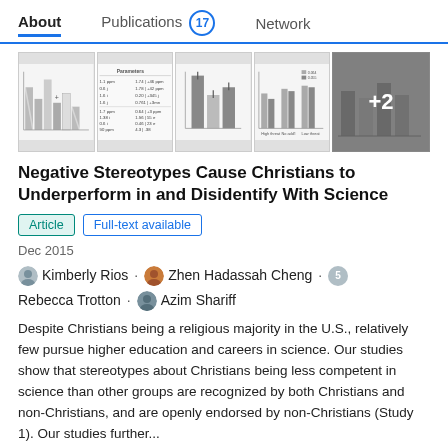About   Publications 17   Network
[Figure (other): Strip of four bar chart thumbnail images from a research paper, with a '+2' overlay on the last visible thumbnail.]
Negative Stereotypes Cause Christians to Underperform in and Disidentify With Science
Article   Full-text available
Dec 2015
Kimberly Rios · Zhen Hadassah Cheng · Rebecca Trotton · Azim Shariff
Despite Christians being a religious majority in the U.S., relatively few pursue higher education and careers in science. Our studies show that stereotypes about Christians being less competent in science than other groups are recognized by both Christians and non-Christians, and are openly endorsed by non-Christians (Study 1). Our studies further...
View